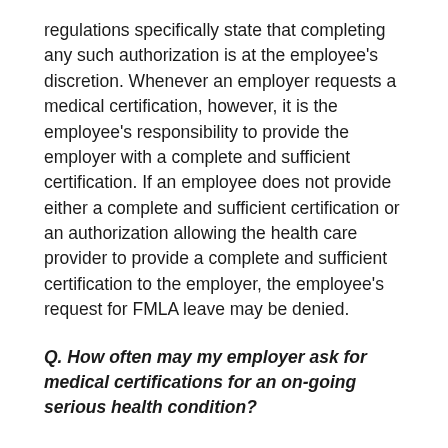regulations specifically state that completing any such authorization is at the employee's discretion. Whenever an employer requests a medical certification, however, it is the employee's responsibility to provide the employer with a complete and sufficient certification. If an employee does not provide either a complete and sufficient certification or an authorization allowing the health care provider to provide a complete and sufficient certification to the employer, the employee's request for FMLA leave may be denied.
Q. How often may my employer ask for medical certifications for an on-going serious health condition?